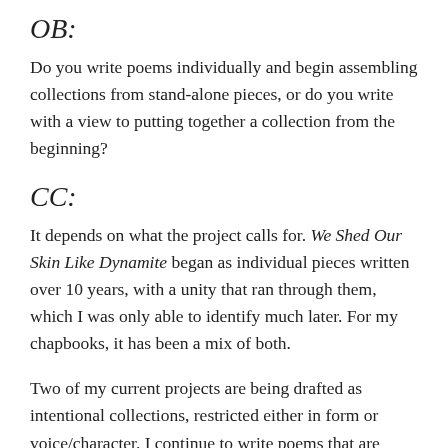OB:
Do you write poems individually and begin assembling collections from stand-alone pieces, or do you write with a view to putting together a collection from the beginning?
CC:
It depends on what the project calls for. We Shed Our Skin Like Dynamite began as individual pieces written over 10 years, with a unity that ran through them, which I was only able to identify much later. For my chapbooks, it has been a mix of both.
Two of my current projects are being drafted as intentional collections, restricted either in form or voice/character. I continue to write poems that are outside of either of those projects, as well. I am sure